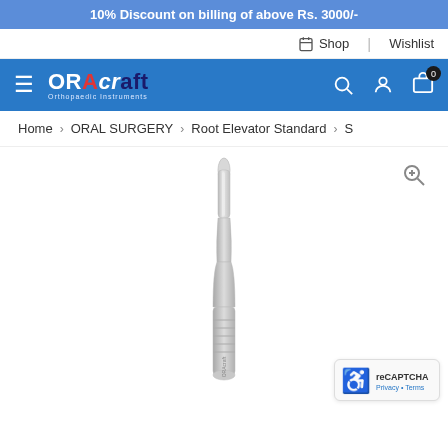10% Discount on billing of above Rs. 3000/-
Shop | Wishlist
[Figure (logo): ORAcraft logo with hamburger menu icon and navigation icons (search, user, cart with badge 0) on blue navigation bar]
Home > ORAL SURGERY > Root Elevator Standard > S
[Figure (photo): A dental root elevator standard instrument, silver/stainless steel, shown vertically oriented with a pointed tip at top and a wider handle at the bottom, against white background. ORAcraft branding on the handle.]
[Figure (other): reCAPTCHA badge bottom right corner with Privacy and Terms links]